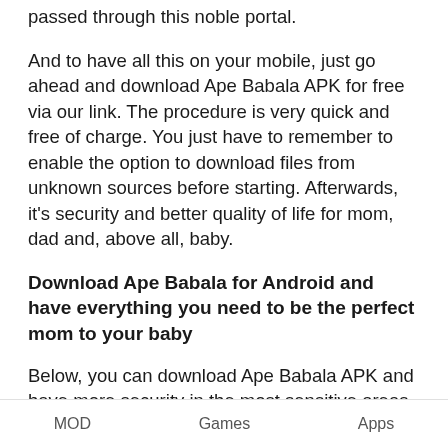passed through this noble portal.
And to have all this on your mobile, just go ahead and download Ape Babala APK for free via our link. The procedure is very quick and free of charge. You just have to remember to enable the option to download files from unknown sources before starting. Afterwards, it's security and better quality of life for mom, dad and, above all, baby.
Download Ape Babala for Android and have everything you need to be the perfect mom to your baby
Below, you can download Ape Babala APK and have more security in the most sensitive areas of your baby's upbringing, as well as better understand the reasons that make you drink more, eat less, cry and so on. Not to mention, of course, taking advantage
MOD   Games   Apps